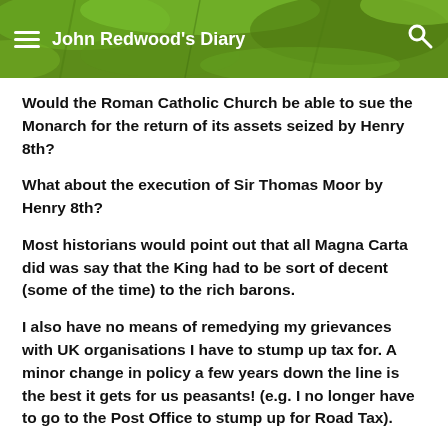John Redwood's Diary
Would the Roman Catholic Church be able to sue the Monarch for the return of its assets seized by Henry 8th?
What about the execution of Sir Thomas Moor by Henry 8th?
Most historians would point out that all Magna Carta did was say that the King had to be sort of decent (some of the time) to the rich barons.
I also have no means of remedying my grievances with UK organisations I have to stump up tax for. A minor change in policy a few years down the line is the best it gets for us peasants! (e.g. I no longer have to go to the Post Office to stump up for Road Tax).